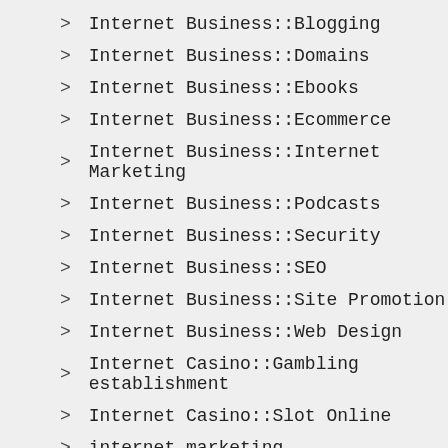Internet Business::Blogging
Internet Business::Domains
Internet Business::Ebooks
Internet Business::Ecommerce
Internet Business::Internet Marketing
Internet Business::Podcasts
Internet Business::Security
Internet Business::SEO
Internet Business::Site Promotion
Internet Business::Web Design
Internet Casino::Gambling establishment
Internet Casino::Slot Online
internet marketing